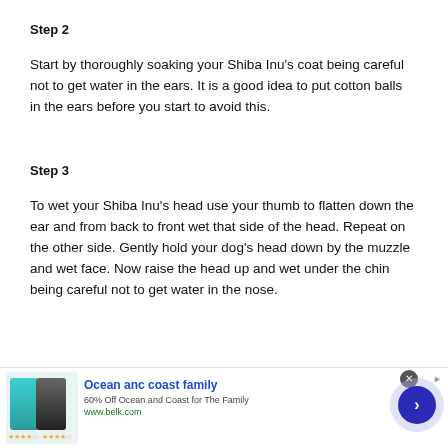Step 2
Start by thoroughly soaking your Shiba Inu’s coat being careful not to get water in the ears. It is a good idea to put cotton balls in the ears before you start to avoid this.
Step 3
To wet your Shiba Inu’s head use your thumb to flatten down the ear and from back to front wet that side of the head. Repeat on the other side. Gently hold your dog’s head down by the muzzle and wet face. Now raise the head up and wet under the chin being careful not to get water in the nose.
[Figure (other): Advertisement banner for Ocean and Coast family clothing. Shows swimwear product images on left, ad title 'Ocean anc coast family', subtitle '60% Off Ocean and Coast for The Family', URL 'www.belk.com', and navigation arrow button on right.]